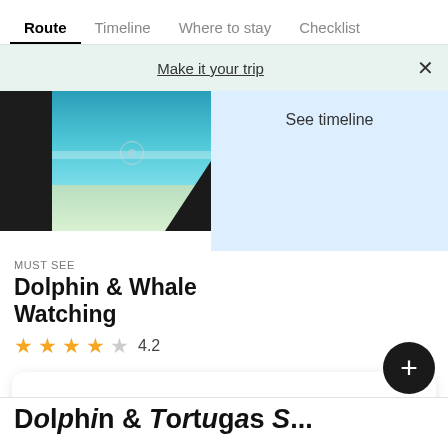Route | Timeline | Where to stay | Checklist
Make it your trip
[Figure (photo): Beach scene with turquoise water, dark rocky foreground on left, sandy beach and palm leaves on right, with copyright symbol overlay]
See timeline
MUST SEE
Dolphin & Whale Watching
★★★★☆ 4.2
Sorry, www.barnacles.ie does not currently offer accommodation in Uvita
+